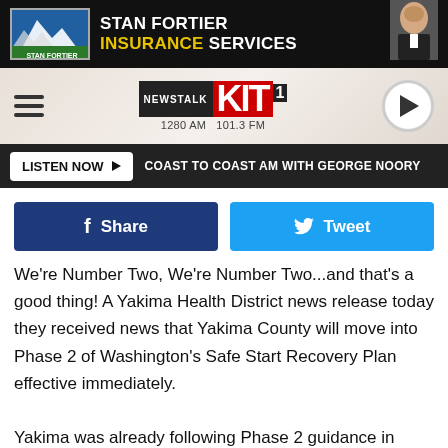[Figure (logo): Stan Fortier Insurance Services advertisement banner with logo and man in suit photo]
[Figure (logo): Newstalk KIT 1280 AM 101.3 FM radio station navigation bar with hamburger menu and play button]
LISTEN NOW ▶  COAST TO COAST AM WITH GEORGE NOORY
[Figure (screenshot): Facebook Share and Twitter Tweet social sharing buttons]
We're Number Two, We're Number Two...and that's a good thing!  A Yakima Health District news release today they received news that Yakima County will move into Phase 2 of Washington's Safe Start Recovery Plan effective immediately.

Yakima was already following Phase 2 guidance in many activities, this new distinction from the Governor's office provides many more additions because of allowances added to Phase 2 just last week. .